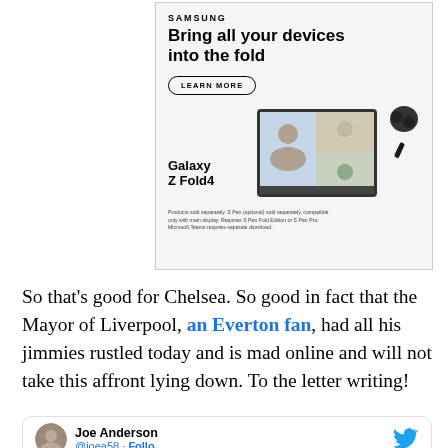[Figure (screenshot): Samsung advertisement for Galaxy Z Fold4. Shows Samsung branding, headline 'Bring all your devices into the fold', a 'LEARN MORE' button, product images of a smartwatch, foldable phone with video call, earbuds and S Pen, and the text 'Galaxy Z Fold4' with fine print about products sold separately.]
So that's good for Chelsea. So good in fact that the Mayor of Liverpool, an Everton fan, had all his jimmies rustled today and is mad online and will not take this affront lying down. To the letter writing!
[Figure (screenshot): Twitter/X card showing Joe Anderson's profile with avatar photo, name 'Joe Anderson', and Twitter bird icon.]